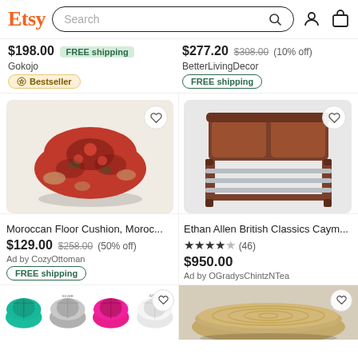Etsy Search
$198.00 FREE shipping
Gokojo
Bestseller
$277.20 $308.00 (10% off)
BetterLivingDecor
FREE shipping
[Figure (photo): Moroccan floor cushion/pouf in red with dark floral pattern]
Moroccan Floor Cushion, Moroc...
$129.00 $258.00 (50% off)
Ad by CozyOttoman
FREE shipping
[Figure (photo): Ethan Allen British Classics Cayman wood bed frame in cherry/mahogany finish]
Ethan Allen British Classics Caym...
★★★★☆ (46)
$950.00
Ad by OGradysChintzNTea
[Figure (photo): Row of colorful leather Moroccan pouf ottomans: teal, silver, pink, white]
[Figure (photo): Woven seagrass/rattan flat pouf ottoman]